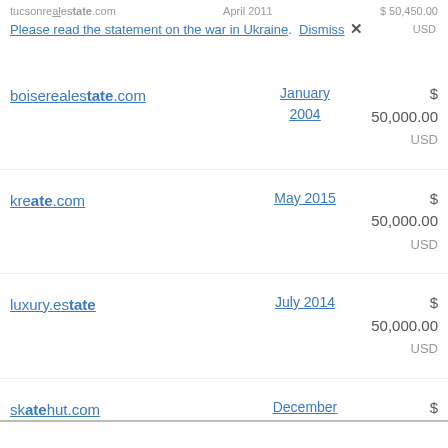tucsonrealestate.com   April 2011   $50,450.00
Please read the statement on the war in Ukraine. Dismiss ✕
boiserealestate.com   January 2004   $50,000.00 USD
kreate.com   May 2015   $50,000.00 USD
luxury.estate   July 2014   $50,000.00 USD
skatehut.com   December 2015   $50,000.00 USD